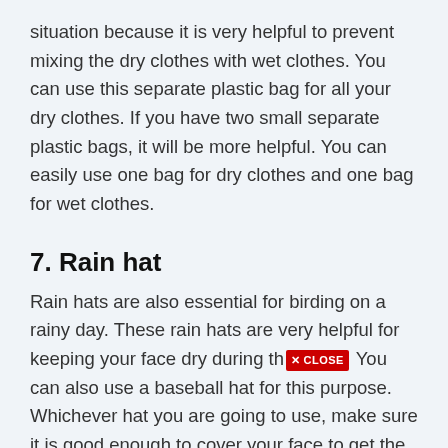situation because it is very helpful to prevent mixing the dry clothes with wet clothes. You can use this separate plastic bag for all your dry clothes. If you have two small separate plastic bags, it will be more helpful. You can easily use one bag for dry clothes and one bag for wet clothes.
7. Rain hat
Rain hats are also essential for birding on a rainy day. These rain hats are very helpful for keeping your face dry during th[× CLOSE] You can also use a baseball hat for this purpose. Whichever hat you are going to use, make sure it is good enough to cover your face to get the maximum benefit. So